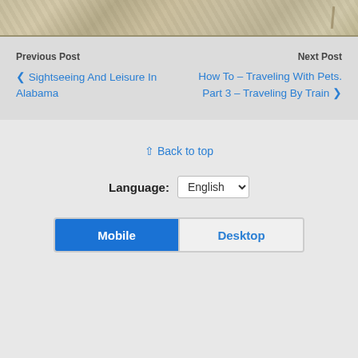[Figure (photo): Partial view of a stone or granite textured surface, cropped at the top of the page]
Previous Post
❮ Sightseeing And Leisure In Alabama
Next Post
How To – Traveling With Pets. Part 3 – Traveling By Train ❯
⁋ Back to top
Language: English
Mobile   Desktop